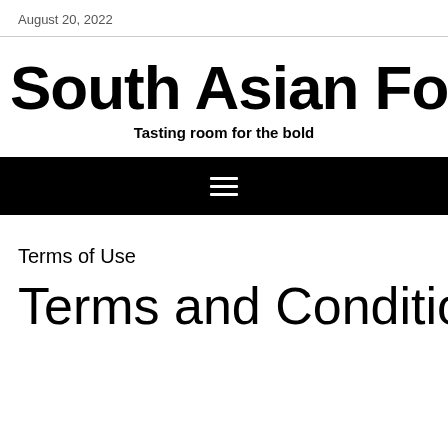August 20, 2022
South Asian Foods
Tasting room for the bold
[Figure (other): Black navigation bar with hamburger menu icon (three white horizontal lines)]
Terms of Use
Terms and Conditions